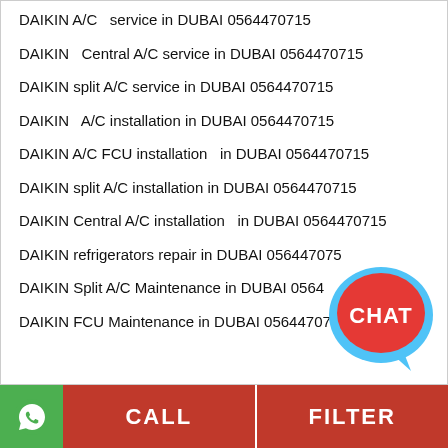DAIKIN A/C  service in DUBAI 0564470715
DAIKIN  Central A/C service in DUBAI 0564470715
DAIKIN split A/C service in DUBAI 0564470715
DAIKIN  A/C installation in DUBAI 0564470715
DAIKIN A/C FCU installation  in DUBAI 0564470715
DAIKIN split A/C installation in DUBAI 0564470715
DAIKIN Central A/C installation  in DUBAI 0564470715
DAIKIN refrigerators repair in DUBAI 0564470715
DAIKIN Split A/C Maintenance in DUBAI 0564470715
DAIKIN FCU Maintenance in DUBAI 0564470715
[Figure (illustration): A red and blue chat bubble icon with the word CHAT in white text]
CALL   FILTER